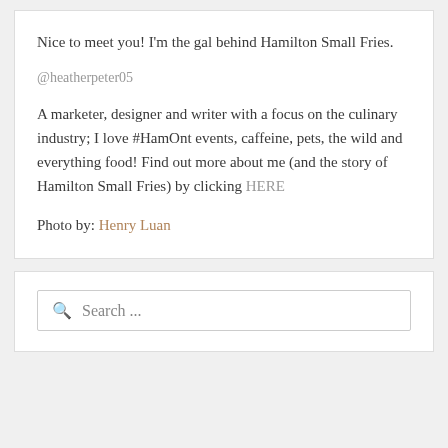Nice to meet you! I'm the gal behind Hamilton Small Fries.
@heatherpeter05
A marketer, designer and writer with a focus on the culinary industry; I love #HamOnt events, caffeine, pets, the wild and everything food! Find out more about me (and the story of Hamilton Small Fries) by clicking HERE
Photo by: Henry Luan
Search ...